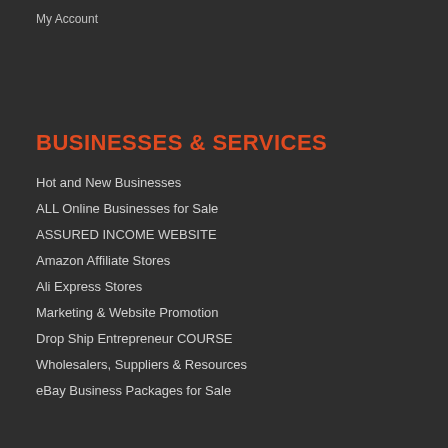My Account
BUSINESSES & SERVICES
Hot and New Businesses
ALL Online Businesses for Sale
ASSURED INCOME WEBSITE
Amazon Affiliate Stores
Ali Express Stores
Marketing & Website Promotion
Drop Ship Entrepreneur COURSE
Wholesalers, Suppliers & Resources
eBay Business Packages for Sale